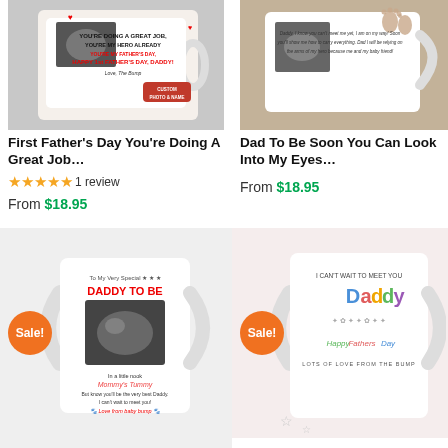[Figure (photo): White mug held in hand showing ultrasound photo with text YOU'RE DOING A GREAT JOB, YOU'RE MY HERO ALREADY, YOU'RE MY FATHER'S DAY, DADDY! Love, The Bump. Red Custom Photo & Name badge.]
First Father's Day You're Doing A Great Job…
★★★★★ 1 review
From $18.95
[Figure (photo): White mug on wooden surface with baby footprints and ultrasound image, personal message on mug body.]
Dad To Be Soon You Can Look Into My Eyes…
From $18.95
[Figure (photo): White mug on light gray background with Sale! orange badge. Mug reads: To My Very Special DADDY TO BE, ultrasound image, In a little nook Mommy's Tummy, But know you'll be the very best Daddy. I can't wait to meet you! Love from baby bump.]
[Figure (photo): White mug with Sale! orange badge. Mug reads: I CAN'T WAIT TO MEET YOU Daddy Happy Fathers Day LOTS OF LOVE FROM THE BUMP. Colorful letters on white mug.]